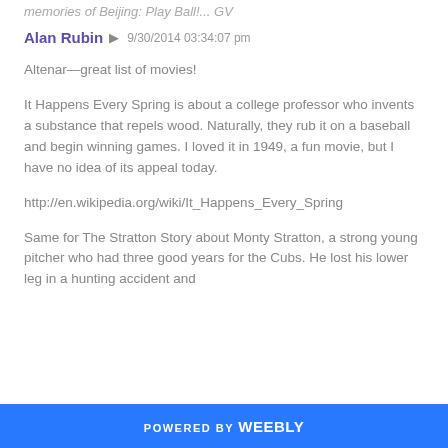memories of Beijing: Play Ball!... GV
Alan Rubin
9/30/2014 03:34:07 pm
Altenar—great list of movies!
It Happens Every Spring is about a college professor who invents a substance that repels wood. Naturally, they rub it on a baseball and begin winning games. I loved it in 1949, a fun movie, but I have no idea of its appeal today.
http://en.wikipedia.org/wiki/It_Happens_Every_Spring
Same for The Stratton Story about Monty Stratton, a strong young pitcher who had three good years for the Cubs. He lost his lower leg in a hunting accident and
POWERED BY weebly